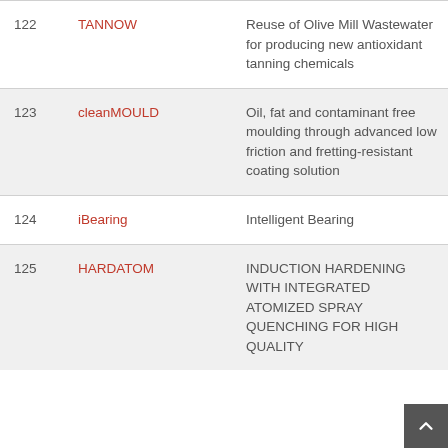| # | Name | Description |
| --- | --- | --- |
| 122 | TANNOW | Reuse of Olive Mill Wastewater for producing new antioxidant tanning chemicals |
| 123 | cleanMOULD | Oil, fat and contaminant free moulding through advanced low friction and fretting-resistant coating solution |
| 124 | iBearing | Intelligent Bearing |
| 125 | HARDATOM | INDUCTION HARDENING WITH INTEGRATED ATOMIZED SPRAY QUENCHING FOR HIGH QUALITY |